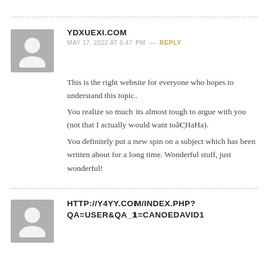YDXUEXI.COM
MAY 17, 2022 AT 6:47 PM — REPLY
This is the right website for everyone who hopes to understand this topic. You realize so much its almost tough to argue with you (not that I actually would want toâ€¦HaHa). You definitely put a new spin on a subject which has been written about for a long time. Wonderful stuff, just wonderful!
HTTP://Y4YY.COM/INDEX.PHP?QA=USER&QA_1=CANOEDAVID1